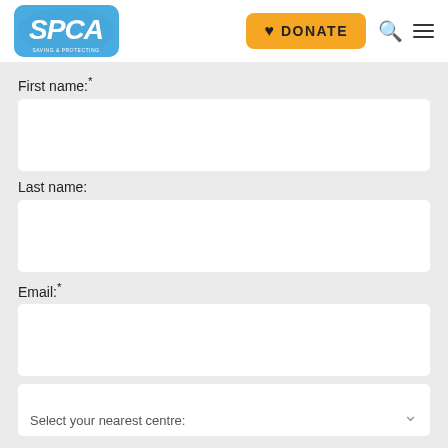[Figure (logo): SPCA logo — blue rounded rectangle with white bold italic SPCA text and small subtitle text]
[Figure (other): Orange Donate button with heart icon, search icon, and hamburger menu icon in the header]
First name:*
Last name:
Email:*
Select your nearest centre: